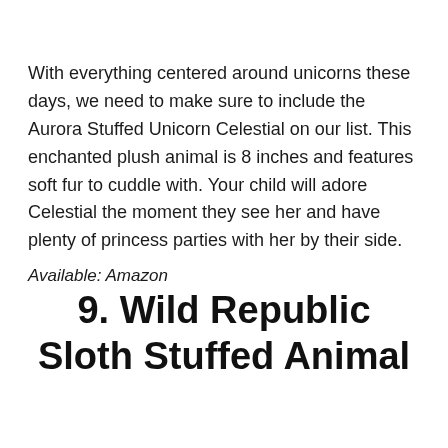With everything centered around unicorns these days, we need to make sure to include the Aurora Stuffed Unicorn Celestial on our list. This enchanted plush animal is 8 inches and features soft fur to cuddle with. Your child will adore Celestial the moment they see her and have plenty of princess parties with her by their side.
Available: Amazon
9. Wild Republic Sloth Stuffed Animal